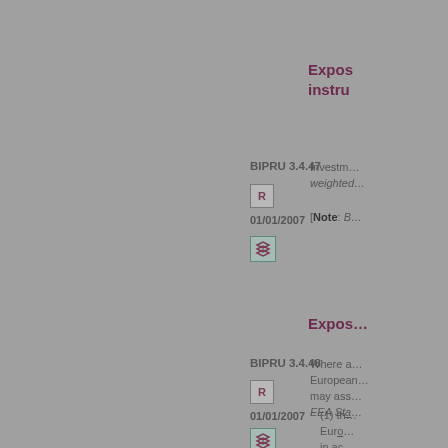Expos… instru…
BIPRU 3.4.47
R
01/01/2007
Investm… weighted…
[Note: B…
Expos…
BIPRU 3.4.48
R
01/01/2007
Where a… European… may ass… EEA Sta…
(1) th… Euro… in ac…